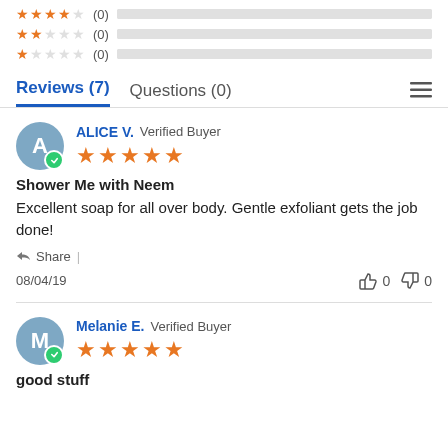[Figure (infographic): Star rating rows: 4-star (0), 2-star (0), 1-star (0) with empty gray progress bars]
Reviews (7)  Questions (0)
ALICE V.  Verified Buyer — 5 stars
Shower Me with Neem
Excellent soap for all over body. Gentle exfoliant gets the job done!
Share |
08/04/19  👍 0  👎 0
Melanie E.  Verified Buyer — 5 stars
good stuff